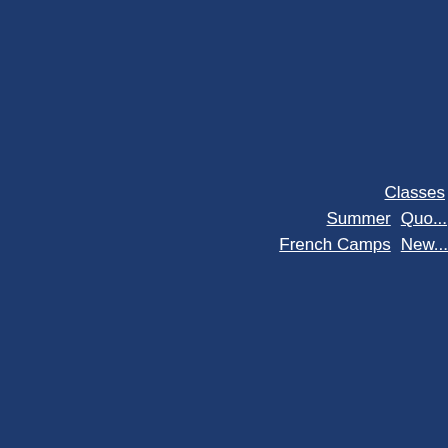Classes  Summer French Camps  Quo... New...
Bienvenue to our C... unique schedule ne...
Small groups of children more desirable as they p... option.
You are invited to submit... you to find the best matc...